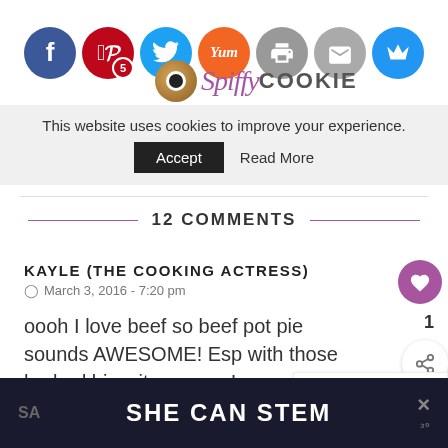[Figure (screenshot): Social media share buttons: Facebook, Pinterest (5), Twitter, Yummly, Print, Email, Crown. Cookie logo with Spiffy Cookie text.]
This website uses cookies to improve your experience.
Accept   Read More
12 COMMENTS
KAYLE (THE COOKING ACTRESS)
March 3, 2016 - 7:20 pm
oooh I love beef so beef pot pie sounds AWESOME! Esp with those herbed biscuits mmmm!
WHAT'S NEXT → One Skillet Corned Beef...
SHE CAN STEM